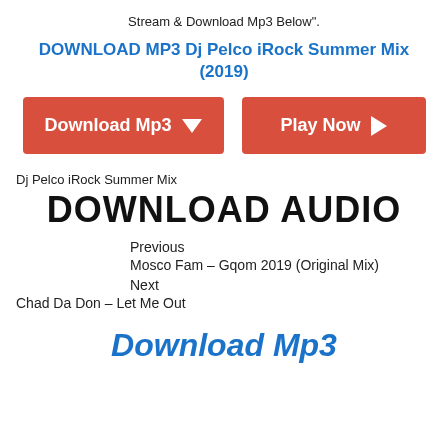Stream & Download Mp3 Below".
DOWNLOAD MP3 Dj Pelco iRock Summer Mix (2019)
[Figure (other): Two red buttons: 'Download Mp3' with down arrow and 'Play Now' with right arrow]
Dj Pelco iRock Summer Mix
DOWNLOAD AUDIO
Previous
Mosco Fam – Gqom 2019 (Original Mix)
Next
Chad Da Don – Let Me Out
Download Mp3